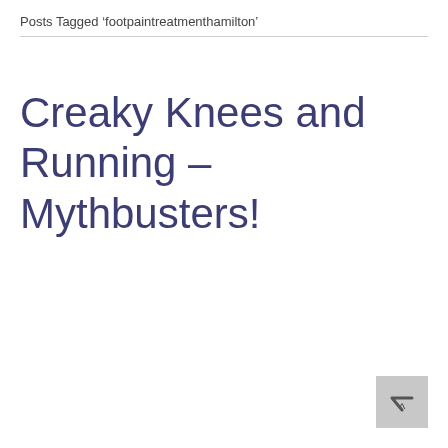Posts Tagged ‘footpaintreatmenthamilton’
Creaky Knees and Running – Mythbusters!